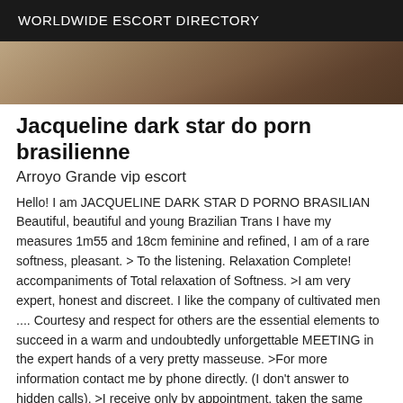WORLDWIDE ESCORT DIRECTORY
[Figure (photo): Partial photo showing a wooden floor and feet/shoes at bottom of frame]
Jacqueline dark star do porn brasilienne
Arroyo Grande vip escort
Hello! I am JACQUELINE DARK STAR D PORNO BRASILIAN Beautiful, beautiful and young Brazilian Trans I have my measures 1m55 and 18cm feminine and refined, I am of a rare softness, pleasant. > To the listening. Relaxation Complete! accompaniments of Total relaxation of Softness. >I am very expert, honest and discreet. I like the company of cultivated men .... Courtesy and respect for others are the essential elements to succeed in a warm and undoubtedly unforgettable MEETING in the expert hands of a very pretty masseuse. >For more information contact me by phone directly. (I don't answer to hidden calls). >I receive only by appointment, taken the same day, half